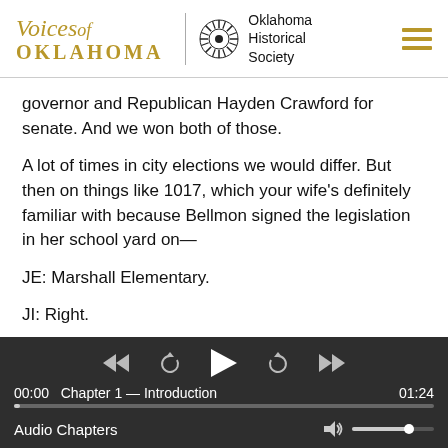Voices of Oklahoma | Oklahoma Historical Society
governor and Republican Hayden Crawford for senate. And we won both of those.
A lot of times in city elections we would differ. But then on things like 1017, which your wife's definitely familiar with because Bellmon signed the legislation in her school yard on—
JE: Marshall Elementary.
JI: Right.
[Figure (screenshot): Audio player controls with rewind, replay, play, forward-replay, and fast-forward buttons on dark background]
00:00   Chapter 1 — Introduction   01:24
Audio Chapters